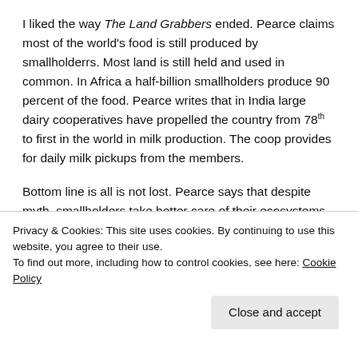I liked the way The Land Grabbers ended. Pearce claims most of the world's food is still produced by smallholderrs. Most land is still held and used in common. In Africa a half-billion smallholders produce 90 percent of the food. Pearce writes that in India large dairy cooperatives have propelled the country from 78th to first in the world in milk production. The coop provides for daily milk pickups from the members.
Bottom line is all is not lost. Pearce says that despite myth, smallholders take better care of their ecosystems than large mechanized industry. They farm every corner of their small
Privacy & Cookies: This site uses cookies. By continuing to use this website, you agree to their use.
To find out more, including how to control cookies, see here: Cookie Policy